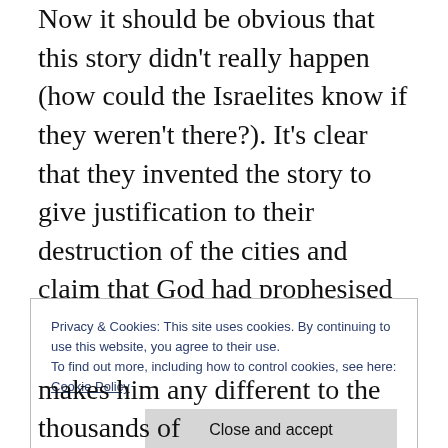Now it should be obvious that this story didn't really happen (how could the Israelites know if they weren't there?). It's clear that they invented the story to give justification to their destruction of the cities and claim that God had prophesised it (Interestingly, the Bible acts as though Balaam really did have magical powers and that had he cursed the Israelites, his curse would have come true). This story is effectively a piece of propaganda that the Israelites used to claim that God was on their side.
Privacy & Cookies: This site uses cookies. By continuing to use this website, you agree to their use.
To find out more, including how to control cookies, see here:
Cookie Policy
Close and accept
makes him any different to the thousands of